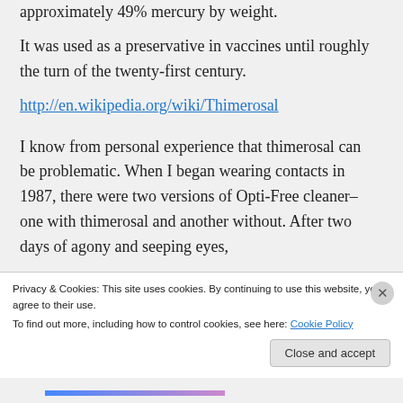approximately 49% mercury by weight. It was used as a preservative in vaccines until roughly the turn of the twenty-first century.
http://en.wikipedia.org/wiki/Thimerosal
I know from personal experience that thimerosal can be problematic. When I began wearing contacts in 1987, there were two versions of Opti-Free cleaner–one with thimerosal and another without. After two days of agony and seeping eyes,
Privacy & Cookies: This site uses cookies. By continuing to use this website, you agree to their use.
To find out more, including how to control cookies, see here: Cookie Policy
Close and accept